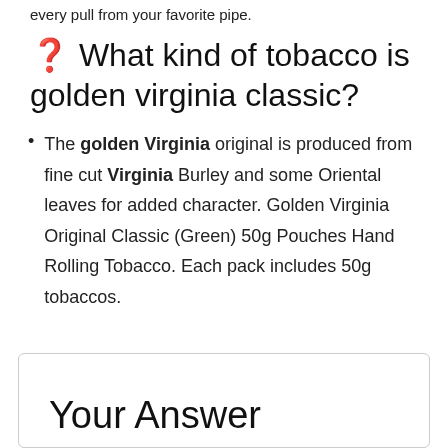every pull from your favorite pipe.
❓ What kind of tobacco is golden virginia classic?
The golden Virginia original is produced from fine cut Virginia Burley and some Oriental leaves for added character. Golden Virginia Original Classic (Green) 50g Pouches Hand Rolling Tobacco. Each pack includes 50g tobaccos.
Your Answer